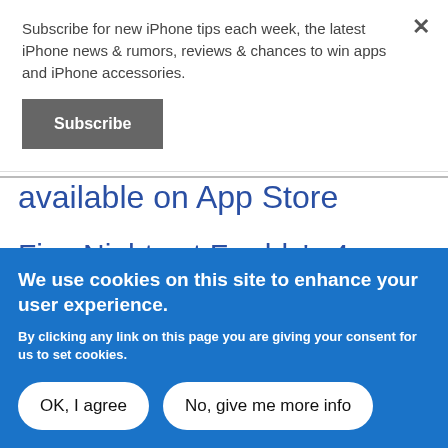Subscribe for new iPhone tips each week, the latest iPhone news & rumors, reviews & chances to win apps and iPhone accessories.
Subscribe
available on App Store
Five Nights at Freddy's 4 trailer hints at new direction for the horror franchise
We use cookies on this site to enhance your user experience.
By clicking any link on this page you are giving your consent for us to set cookies.
OK, I agree
No, give me more info